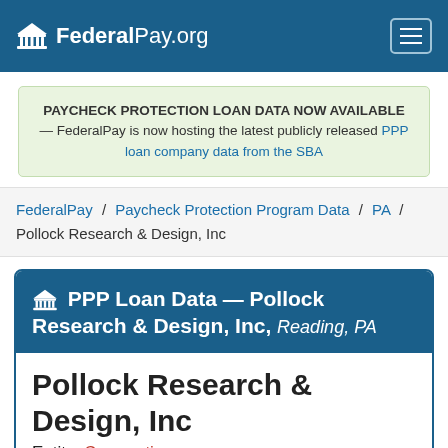FederalPay.org
PAYCHECK PROTECTION LOAN DATA NOW AVAILABLE — FederalPay is now hosting the latest publicly released PPP loan company data from the SBA
FederalPay / Paycheck Protection Program Data / PA / Pollock Research & Design, Inc
PPP Loan Data — Pollock Research & Design, Inc, Reading, PA
Pollock Research & Design, Inc
Entity: Corporation